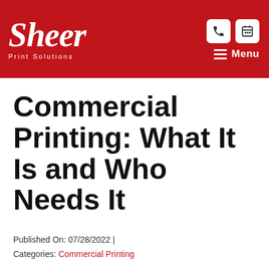Sheer Print Solutions
Commercial Printing: What It Is and Who Needs It
Published On: 07/28/2022 |
Categories: Commercial Printing